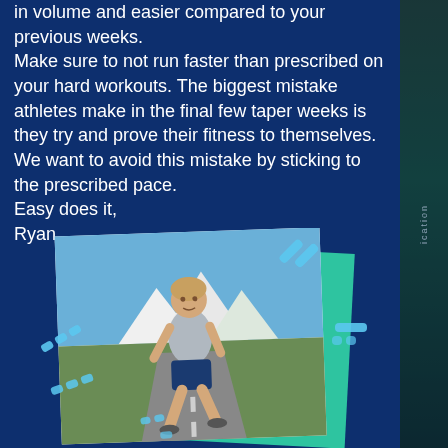in volume and easier compared to your previous weeks.
Make sure to not run faster than prescribed on your hard workouts. The biggest mistake athletes make in the final few taper weeks is they try and prove their fitness to themselves. We want to avoid this mistake by sticking to the prescribed pace.
Easy does it,
Ryan
[Figure (photo): A man in a grey t-shirt and navy shorts running outdoors on a road with mountains and trees in the background. The photo is presented with a green card behind it and decorative blue/white dash marks around it.]